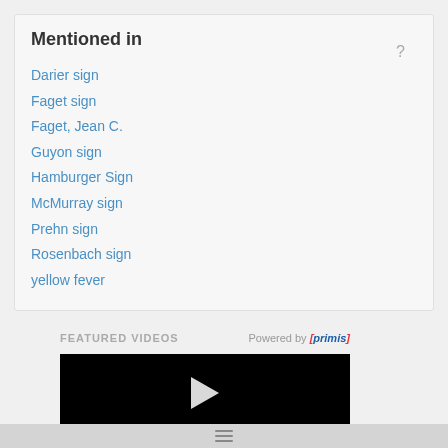Mentioned in
Darier sign
Faget sign
Faget, Jean C.
Guyon sign
Hamburger Sign
McMurray sign
Prehn sign
Rosenbach sign
yellow fever
FEATURED VIDEOS
Powered by [primis]
[Figure (screenshot): Black video player with white play button triangle in center]